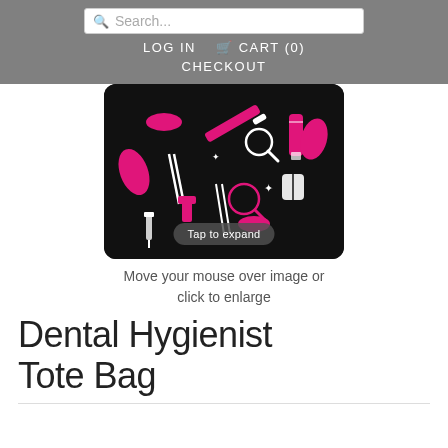Search... LOG IN  CART (0)  CHECKOUT
[Figure (photo): A tote bag featuring a pattern of dental hygienist tools and icons (toothbrush, teeth, dental picks, lips, toothpaste) in pink and white on a black background, with a 'Tap to expand' overlay button]
Move your mouse over image or click to enlarge
Dental Hygienist Tote Bag